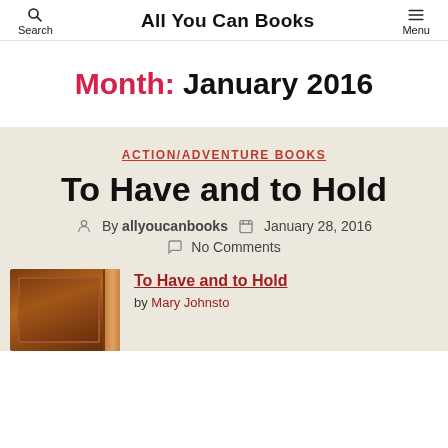Search | All You Can Books | Menu
Month: January 2016
ACTION/ADVENTURE BOOKS
To Have and to Hold
By allyoucanbooks  January 28, 2016  No Comments
[Figure (photo): Book cover image of To Have and to Hold]
To Have and to Hold
by Mary Johnston